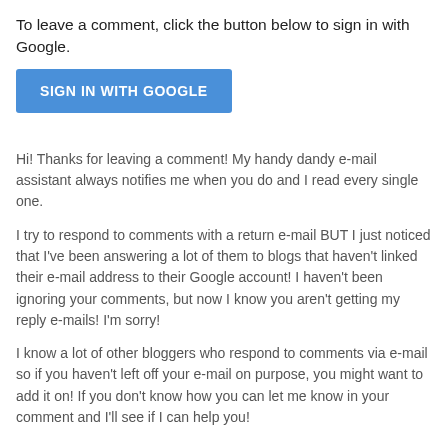To leave a comment, click the button below to sign in with Google.
[Figure (other): Blue 'SIGN IN WITH GOOGLE' button]
Hi! Thanks for leaving a comment! My handy dandy e-mail assistant always notifies me when you do and I read every single one.
I try to respond to comments with a return e-mail BUT I just noticed that I've been answering a lot of them to blogs that haven't linked their e-mail address to their Google account! I haven't been ignoring your comments, but now I know you aren't getting my reply e-mails! I'm sorry!
I know a lot of other bloggers who respond to comments via e-mail so if you haven't left off your e-mail on purpose, you might want to add it on! If you don't know how you can let me know in your comment and I'll see if I can help you!